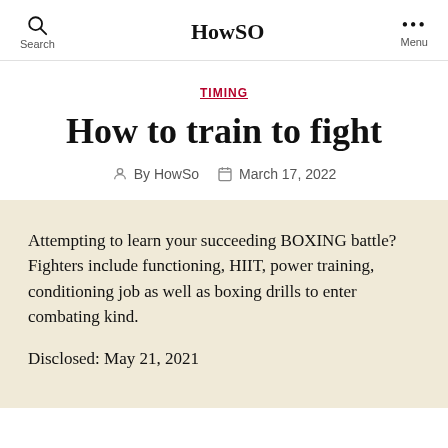Search | HowSO | Menu
TIMING
How to train to fight
By HowSo   March 17, 2022
Attempting to learn your succeeding BOXING battle? Fighters include functioning, HIIT, power training, conditioning job as well as boxing drills to enter combating kind.
Disclosed: May 21, 2021